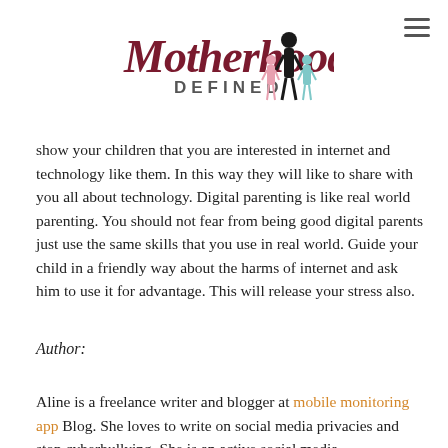[Figure (logo): Motherhood Defined blog logo with stylized cursive and serif text and illustrated figures of a woman with children in pink and teal]
show your children that you are interested in internet and technology like them. In this way they will like to share with you all about technology. Digital parenting is like real world parenting. You should not fear from being good digital parents just use the same skills that you use in real world. Guide your child in a friendly way about the harms of internet and ask him to use it for advantage. This will release your stress also.
Author:
Aline is a freelance writer and blogger at mobile monitoring app Blog. She loves to write on social media privacies and stop cyberbullying. She is an active social media